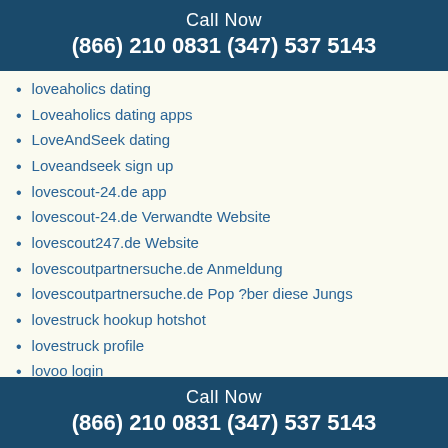Call Now
(866) 210 0831 (347) 537 5143
loveaholics dating
Loveaholics dating apps
LoveAndSeek dating
Loveandseek sign up
lovescout-24.de app
lovescout-24.de Verwandte Website
lovescout247.de Website
lovescoutpartnersuche.de Anmeldung
lovescoutpartnersuche.de Pop ?ber diese Jungs
lovestruck hookup hotshot
lovestruck profile
lovoo login
lovoo sign in
lovooapp.de Pop ?ber diese Jungs
low cost installment loans
low rate installment loans
Call Now
(866) 210 0831 (347) 537 5143